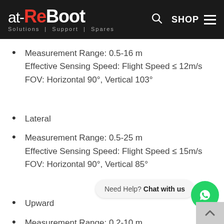at-ReBoot | Solutions | Support | Spares
Measurement Range: 0.5-16 m
Effective Sensing Speed: Flight Speed ≤ 12m/s
FOV: Horizontal 90°, Vertical 103°
Lateral
Measurement Range: 0.5-25 m
Effective Sensing Speed: Flight Speed ≤ 15m/s
FOV: Horizontal 90°, Vertical 85°
Upward
Measurement Range: 0.2-10 m